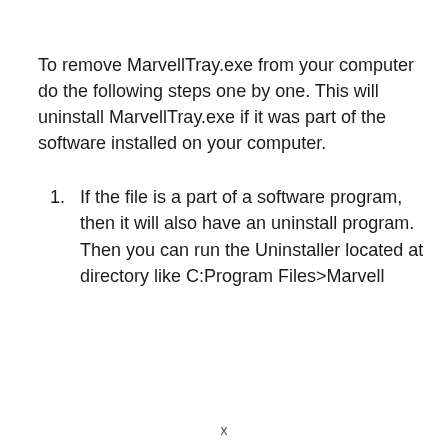To remove MarvellTray.exe from your computer do the following steps one by one. This will uninstall MarvellTray.exe if it was part of the software installed on your computer.
If the file is a part of a software program, then it will also have an uninstall program. Then you can run the Uninstaller located at directory like C:Program Files>Marvell